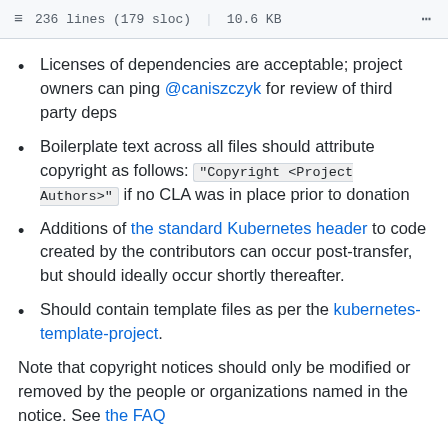236 lines (179 sloc) | 10.6 KB
Licenses of dependencies are acceptable; project owners can ping @caniszczyk for review of third party deps
Boilerplate text across all files should attribute copyright as follows: "Copyright <Project Authors>" if no CLA was in place prior to donation
Additions of the standard Kubernetes header to code created by the contributors can occur post-transfer, but should ideally occur shortly thereafter.
Should contain template files as per the kubernetes-template-project.
Note that copyright notices should only be modified or removed by the people or organizations named in the notice. See the FAQ